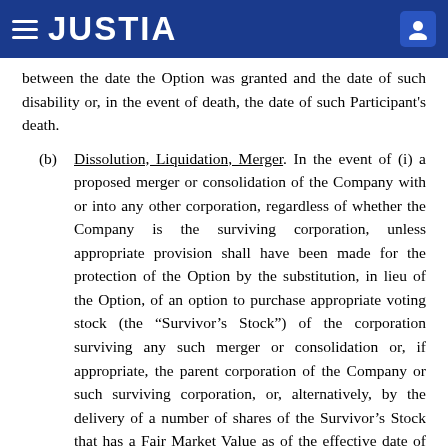JUSTIA
between the date the Option was granted and the date of such disability or, in the event of death, the date of such Participant's death.
(b) Dissolution, Liquidation, Merger. In the event of (i) a proposed merger or consolidation of the Company with or into any other corporation, regardless of whether the Company is the surviving corporation, unless appropriate provision shall have been made for the protection of the Option by the substitution, in lieu of the Option, of an option to purchase appropriate voting stock (the “Survivor’s Stock”) of the corporation surviving any such merger or consolidation or, if appropriate, the parent corporation of the Company or such surviving corporation, or, alternatively, by the delivery of a number of shares of the Survivor’s Stock that has a Fair Market Value as of the effective date of such merger or consolidation equal to the product of (A)